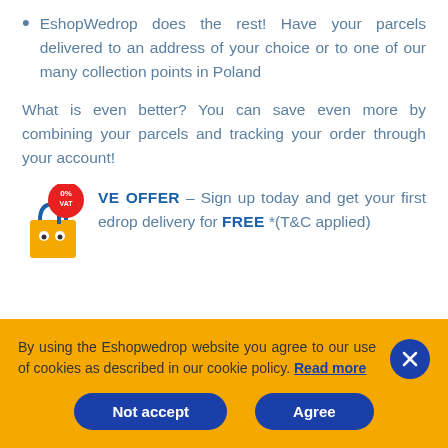EshopWedrop does the rest! Have your parcels delivered to an address of your choice or to one of our many collection points in Poland
What is even better? You can save even more by combining your parcels and tracking your order through your account!
VE OFFER – Sign up today and get your first edrop delivery for FREE *(T&C applied)
By using the Eshopwedrop website you agree to our use of cookies as described in our cookie policy. Read more
Not accept
Agree